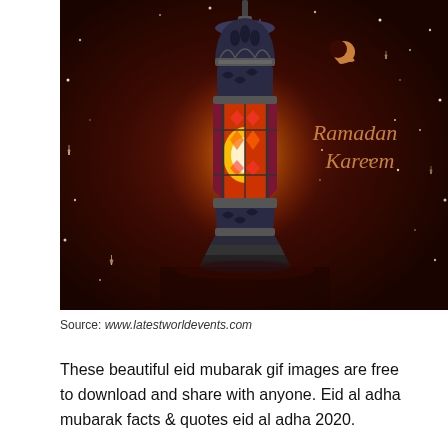[Figure (illustration): A decorative Ramadan lantern (fanous) glowing with warm orange-red light against a dark brown starry background. The text 'Ramadan Kareem' appears in golden italic script on the right side, with a crescent moon symbol above it.]
Source: www.latestworldevents.com
These beautiful eid mubarak gif images are free to download and share with anyone. Eid al adha mubarak facts & quotes eid al adha 2020.